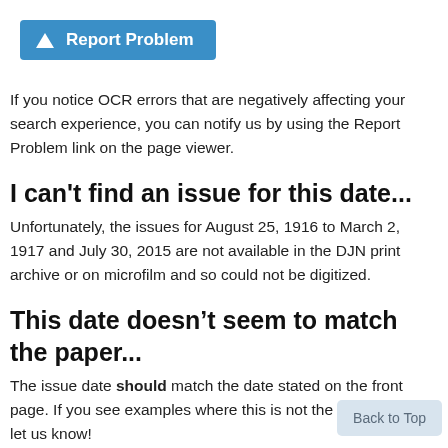[Figure (other): Blue 'Report Problem' button with warning triangle icon]
If you notice OCR errors that are negatively affecting your search experience, you can notify us by using the Report Problem link on the page viewer.
I can't find an issue for this date...
Unfortunately, the issues for August 25, 1916 to March 2, 1917 and July 30, 2015 are not available in the DJN print archive or on microfilm and so could not be digitized.
This date doesn’t seem to match the paper...
The issue date should match the date stated on the front page. If you see examples where this is not the case, please let us know!
You may come across a newspaper whose date metadata